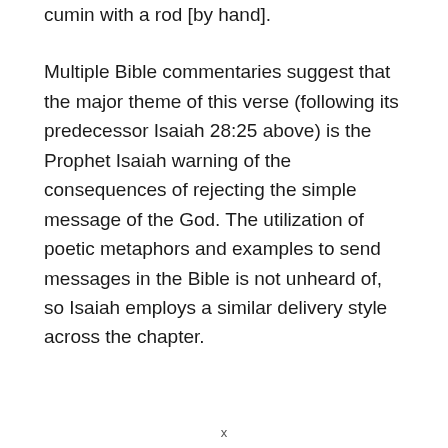cumin with a rod [by hand].
Multiple Bible commentaries suggest that the major theme of this verse (following its predecessor Isaiah 28:25 above) is the Prophet Isaiah warning of the consequences of rejecting the simple message of the God. The utilization of poetic metaphors and examples to send messages in the Bible is not unheard of, so Isaiah employs a similar delivery style across the chapter.
x